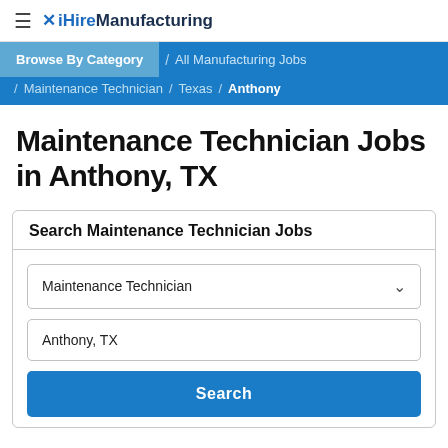iHireManufacturing
Browse By Category / All Manufacturing Jobs / Maintenance Technician / Texas / Anthony
Maintenance Technician Jobs in Anthony, TX
Search Maintenance Technician Jobs
Maintenance Technician [dropdown]
Anthony, TX
Search